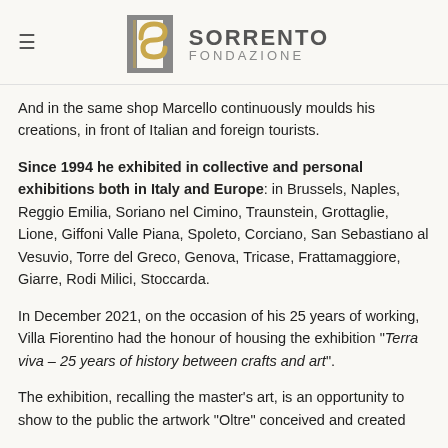[Figure (logo): Sorrento Fondazione logo with stylized S column graphic and text SORRENTO FONDAZIONE]
And in the same shop Marcello continuously moulds his creations, in front of Italian and foreign tourists.
Since 1994 he exhibited in collective and personal exhibitions both in Italy and Europe: in Brussels, Naples, Reggio Emilia, Soriano nel Cimino, Traunstein, Grottaglie, Lione, Giffoni Valle Piana, Spoleto, Corciano, San Sebastiano al Vesuvio, Torre del Greco, Genova, Tricase, Frattamaggiore, Giarre, Rodi Milici, Stoccarda.
In December 2021, on the occasion of his 25 years of working, Villa Fiorentino had the honour of housing the exhibition "Terra viva – 25 years of history between crafts and art".
The exhibition, recalling the master's art, is an opportunity to show to the public the artwork "Oltre" conceived and created